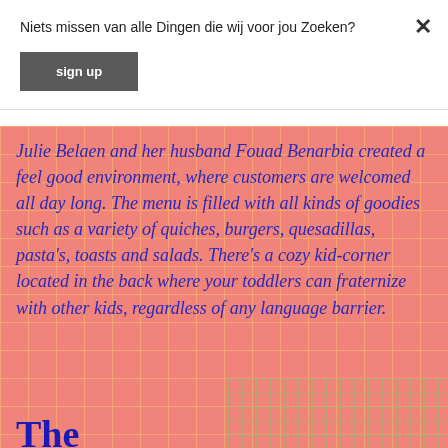Niets missen van alle Dingen die wij voor jou Zoeken?
sign up
Julie Belaen and her husband Fouad Benarbia created a feel good environment, where customers are welcomed all day long. The menu is filled with all kinds of goodies such as a variety of quiches, burgers, quesadillas, pasta's, toasts and salads. There's a cozy kid-corner located in the back where your toddlers can fraternize with other kids, regardless of any language barrier.
The...